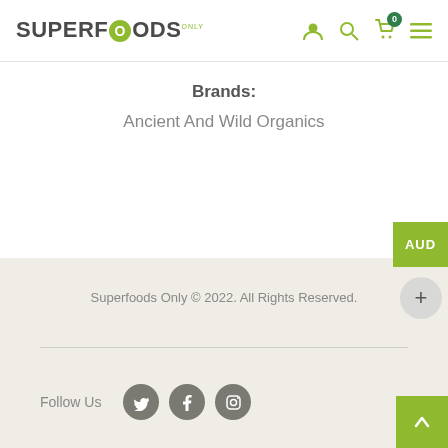SUPERFOODS ONLY — navigation header with logo, user, search, cart (0), menu icons
Brands:
Ancient And Wild Organics
[Figure (illustration): Decorative mountain/hills silhouette in light beige/cream tone]
AUD
+
Superfoods Only © 2022. All Rights Reserved.
Follow Us
[Figure (infographic): Three social media icons: Twitter, Facebook, Instagram — grey circles]
[Figure (other): Back to top arrow button, green square]